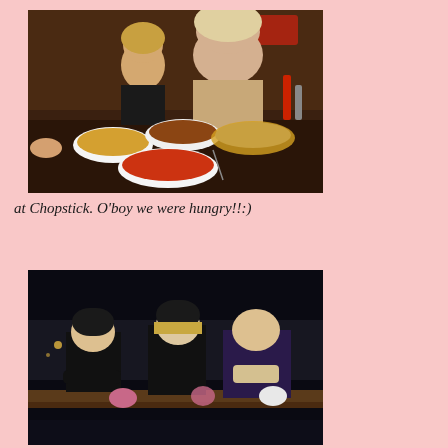[Figure (photo): People sitting at a restaurant table with food dishes including rice, meat with sauce, and pasta/noodles. Two women visible in the background eating at Chopstick restaurant.]
at Chopstick. O'boy we were hungry!!:)
[Figure (photo): Three women standing outdoors at night, wearing winter coats and hats, posing together. Dark background with some lights visible.]